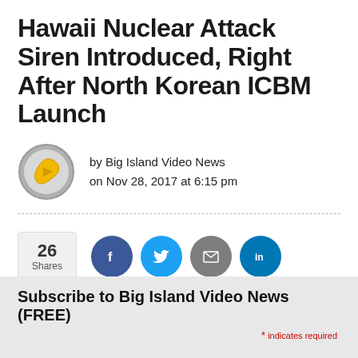Hawaii Nuclear Attack Siren Introduced, Right After North Korean ICBM Launch
by Big Island Video News
on Nov 28, 2017 at 6:15 pm
[Figure (logo): Big Island Video News logo: circular gray border with golden Hawaii island shape and play button triangle]
26 Shares
[Figure (infographic): Social share buttons: Facebook (blue circle, f), Twitter (light blue circle, bird), Email (gray circle, envelope), LinkedIn (blue circle, in)]
Subscribe to Big Island Video News (FREE)
* indicates required